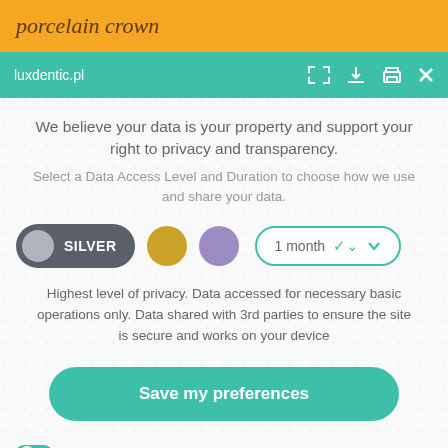porcelain crown
luxdentic.pl
We believe your data is your property and support your right to privacy and transparency. Select a Data Access Level and Duration to choose how we use and share your data.
[Figure (screenshot): Privacy consent UI with SILVER toggle selected, gold and purple circle options, and 1 month dropdown]
Highest level of privacy. Data accessed for necessary basic operations only. Data shared with 3rd parties to ensure the site is secure and works on your device
Save my preferences
Customize
Privacy policy